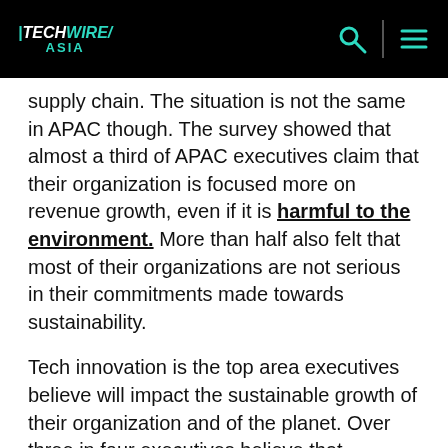TechWire Asia - logo with search and menu icons
supply chain. The situation is not the same in APAC though. The survey showed that almost a third of APAC executives claim that their organization is focused more on revenue growth, even if it is harmful to the environment. More than half also felt that most of their organizations are not serious in their commitments made towards sustainability.
Tech innovation is the top area executives believe will impact the sustainable growth of their organization and of the planet. Over three in four executives believe that technology helps transform operations, socialize initiatives, and measure and report on the impact of their efforts. Executives are